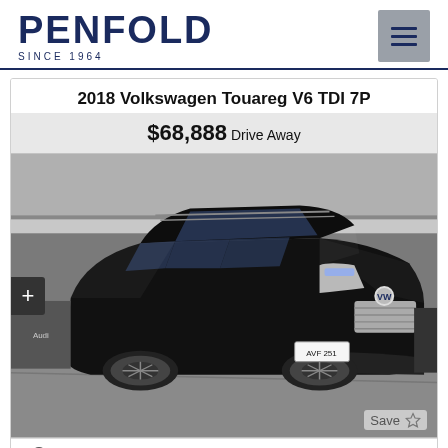PENFOLD SINCE 1964
2018 Volkswagen Touareg V6 TDI 7P
$68,888 Drive Away
[Figure (photo): Black 2018 Volkswagen Touareg V6 TDI 7P SUV parked in a dealership lot, viewed from front-left angle. License plate reads AVF 251.]
Save ☆
Used Vehicle